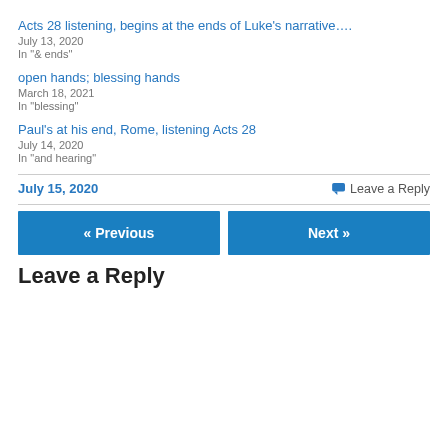Acts 28 listening, begins at the ends of Luke’s narrative….
July 13, 2020
In "& ends"
open hands; blessing hands
March 18, 2021
In "blessing"
Paul’s at his end, Rome, listening Acts 28
July 14, 2020
In "and hearing"
July 15, 2020
Leave a Reply
« Previous
Next »
Leave a Reply